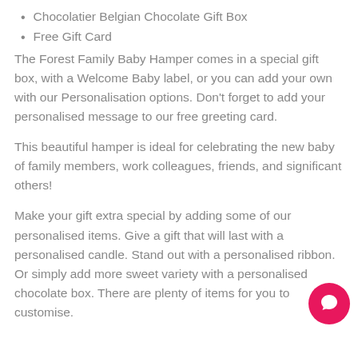Chocolatier Belgian Chocolate Gift Box
Free Gift Card
The Forest Family Baby Hamper comes in a special gift box, with a Welcome Baby label, or you can add your own with our Personalisation options. Don't forget to add your personalised message to our free greeting card.
This beautiful hamper is ideal for celebrating the new baby of family members, work colleagues, friends, and significant others!
Make your gift extra special by adding some of our personalised items. Give a gift that will last with a personalised candle. Stand out with a personalised ribbon. Or simply add more sweet variety with a personalised chocolate box. There are plenty of items for you to customise.